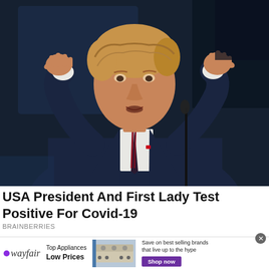[Figure (photo): A man in a dark navy suit with a striped tie gesturing with both hands raised, speaking at a podium with a microphone visible. Background is dark blue/black.]
USA President And First Lady Test Positive For Covid-19
BRAINBERRIES
[Figure (infographic): Wayfair advertisement banner: logo on left, 'Top Appliances Low Prices' text, image of a stove/range appliance, text 'Save on best selling brands that live up to the hype' and a purple 'Shop now' button. Close button (x) in top right.]